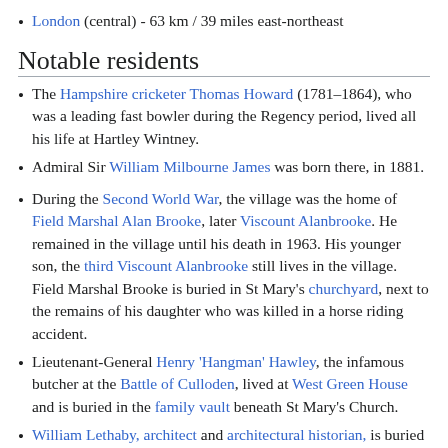London (central) - 63 km / 39 miles east-northeast
Notable residents
The Hampshire cricketer Thomas Howard (1781–1864), who was a leading fast bowler during the Regency period, lived all his life at Hartley Wintney.
Admiral Sir William Milbourne James was born there, in 1881.
During the Second World War, the village was the home of Field Marshal Alan Brooke, later Viscount Alanbrooke. He remained in the village until his death in 1963. His younger son, the third Viscount Alanbrooke still lives in the village. Field Marshal Brooke is buried in St Mary's churchyard, next to the remains of his daughter who was killed in a horse riding accident.
Lieutenant-General Henry 'Hangman' Hawley, the infamous butcher at the Battle of Culloden, lived at West Green House and is buried in the family vault beneath St Mary's Church.
William Lethaby, architect and architectural historian, is buried on the south side of St Mary's churchyard.
Admiral Sir Richard Onslow, lived in Hartley Wintney at Bears